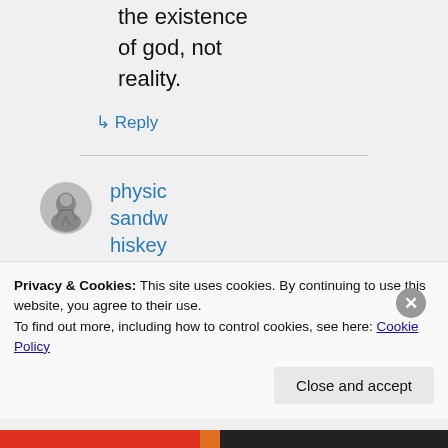the existence of god, not reality.
↳ Reply
physicsandwhiskey on June 4
Privacy & Cookies: This site uses cookies. By continuing to use this website, you agree to their use.
To find out more, including how to control cookies, see here: Cookie Policy
Close and accept